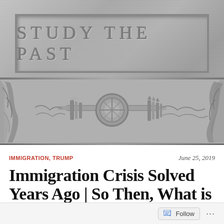[Figure (photo): Black and white photo of a stone/granite monument or building facade with engraved text 'STUDY THE PAST' in a rectangular panel at the top, and decorative relief sculptures below showing draped fabric, torches, and other ornamental elements]
IMMIGRATION, TRUMP   June 25, 2019
Immigration Crisis Solved Years Ago | So Then, What is Trump Up To?